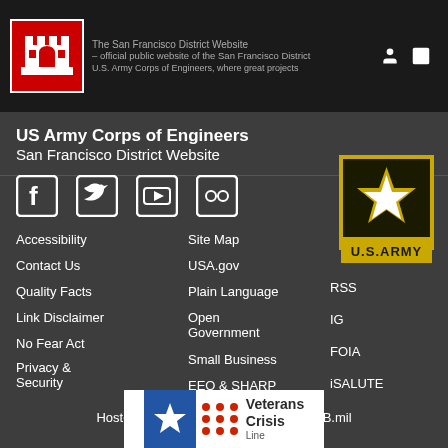US Army Corps of Engineers San Francisco District Website - The official public website of the San Francisco District
US Army Corps of Engineers
San Francisco District Website
[Figure (logo): Social media icons: Facebook, Twitter, YouTube, Flickr]
[Figure (logo): US Army star logo with U.S.ARMY text below]
Accessibility
Contact Us
Quality Facts
Link Disclaimer
No Fear Act
Privacy & Security
Site Map
USA.gov
Plain Language
Open Government
Small Business
EEO & SHARP
RSS
IG
FOIA
iSALUTE
Hosted by Defense Media Activity - WEB.mil
[Figure (logo): Veterans Crisis Line logo with blue star and red dots]